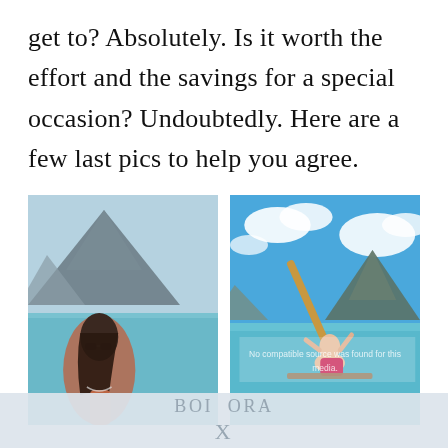get to? Absolutely. Is it worth the effort and the savings for a special occasion? Undoubtedly. Here are a few last pics to help you agree.
[Figure (photo): Woman with sunglasses in turquoise water with mountain backdrop (Bora Bora)]
[Figure (photo): Man with kayak paddle sitting on boat in turquoise lagoon with mountain backdrop and blue sky with clouds; watermark text 'No compatible source was found for this media']